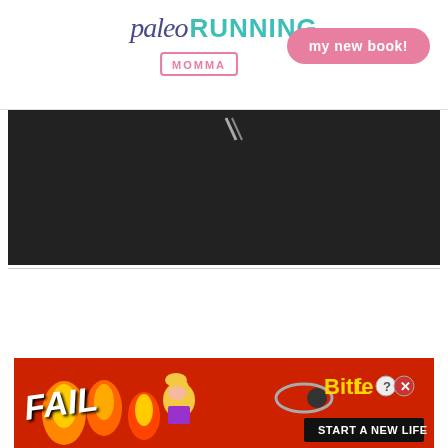paleo RUNNING MOMMA | my new book!
[Figure (screenshot): Video player showing error message: The video cannot be played in this browser. (Error Code: 242632)]
The video cannot be played in this browser. (Error Code: 242632)
[Figure (photo): Advertisement banner for BitLife game showing 'FAIL' text with flames and cartoon character, and 'START A NEW LIFE' tagline]